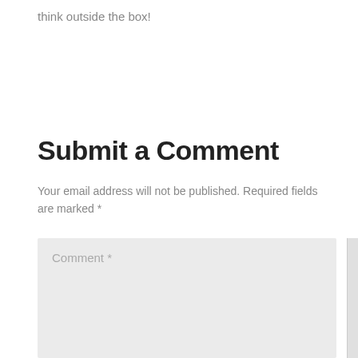think outside the box!
Submit a Comment
Your email address will not be published. Required fields are marked *
Comment *